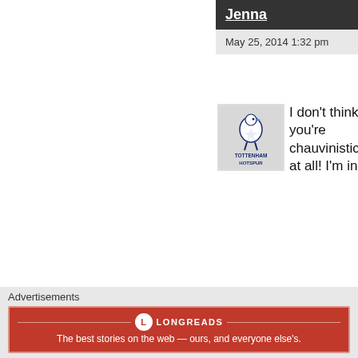Jenna
May 25, 2014 1:32 pm
[Figure (logo): Tottenham Hotspur logo badge]
I don't think you're chauvinistic at all! I'm in complete agreement with you, actually.
★ Like
Reply
Advertisements
[Figure (infographic): Longreads advertisement banner: The best stories on the web — ours, and everyone else's.]